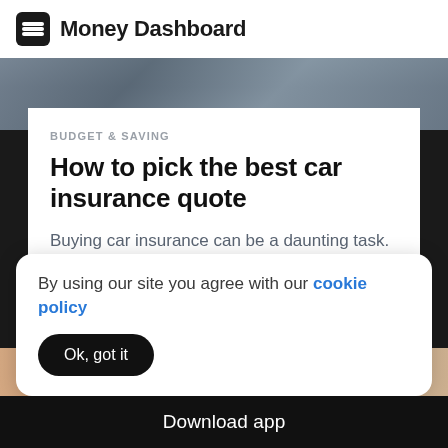Money Dashboard
[Figure (photo): Dark grey textured landscape/outdoor background image strip at top]
BUDGET & SAVING
How to pick the best car insurance quote
Buying car insurance can be a daunting task. There are minimum insurance requirements you must meet by law, and the wide selection of products
By using our site you agree with our cookie policy
Ok, got it
[Figure (photo): Light brown/tan textured surface image strip at bottom]
Download app